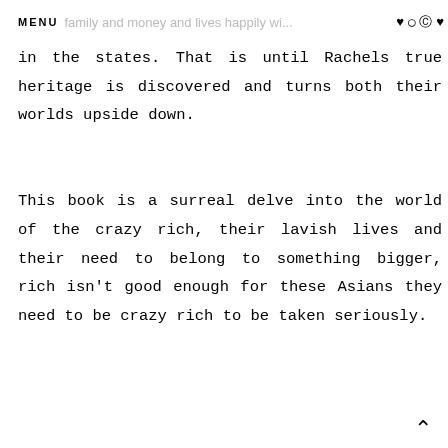MENU  family and money and lives happily w... ♥ ⊙ ® ♥
in the states. That is until Rachels true heritage is discovered and turns both their worlds upside down.

This book is a surreal delve into the world of the crazy rich, their lavish lives and their need to belong to something bigger, rich isn't good enough for these Asians they need to be crazy rich to be taken seriously.